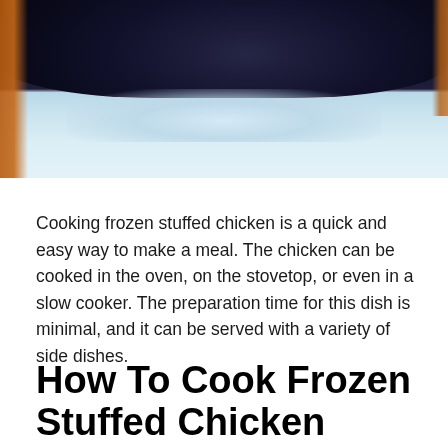[Figure (photo): Frozen stuffed chicken in dark packaging, placed in what appears to be a cooler or cold environment with ice/snow visible underneath, orange cooler sides visible]
Cooking frozen stuffed chicken is a quick and easy way to make a meal. The chicken can be cooked in the oven, on the stovetop, or even in a slow cooker. The preparation time for this dish is minimal, and it can be served with a variety of side dishes.
How To Cook Frozen Stuffed Chicken